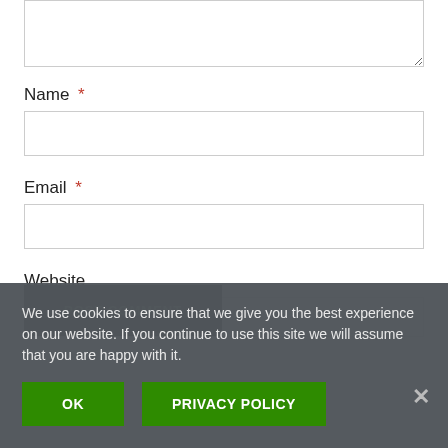[Figure (screenshot): Web form with textarea (top, partially visible), Name field with red asterisk and text input, Email field with red asterisk and text input, Website field label and input box. Over the bottom portion is a cookie consent overlay with text, OK button, PRIVACY POLICY button, and a close X button. A POST COMMENT button is partially visible behind the overlay.]
Name *
Email *
Website
We use cookies to ensure that we give you the best experience on our website. If you continue to use this site we will assume that you are happy with it.
POST COMMENT
OK
PRIVACY POLICY